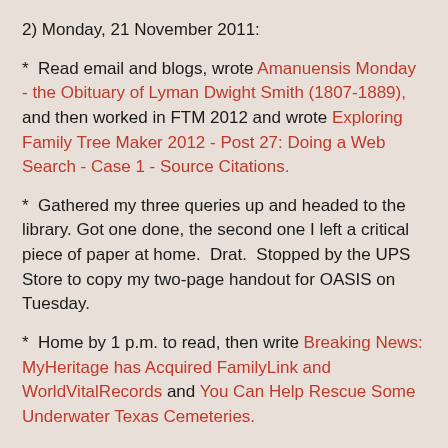2)  Monday, 21 November 2011:
*  Read email and blogs, wrote Amanuensis Monday - the Obituary of Lyman Dwight Smith (1807-1889), and then worked in FTM 2012 and wrote Exploring Family Tree Maker 2012 - Post 27: Doing a Web Search - Case 1 - Source Citations.
*  Gathered my three queries up and headed to the library. Got one done, the second one I left a critical piece of paper at home.  Drat.  Stopped by the UPS Store to copy my two-page handout for OASIS on Tuesday.
*  Home by 1 p.m. to read, then write Breaking News: MyHeritage has Acquired FamilyLink and WorldVitalRecords and You Can Help Rescue Some Underwater Texas Cemeteries.
*  Got the OASIS Talk files on the laptop and shut it down. Answered some email.   Wrote What's "Bad" About Genealogy Software?